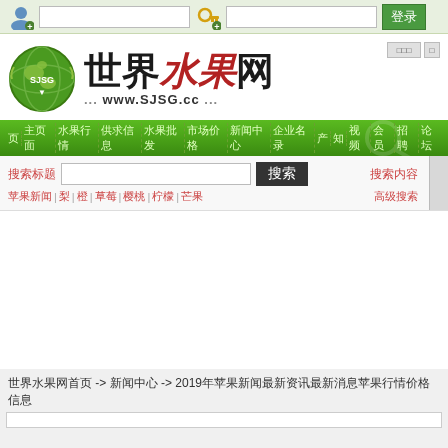[User icon] [input] [key icon] [input] 登录
[Figure (logo): 世界水果网 logo with SJSG globe emblem and www.SJSG.cc URL]
世界水果网 ... www.SJSG.cc ...
Navigation bar with menu items in Chinese
[搜索label] [search input] 搜索 [right links]
[breadcrumb links] -> [category] -> 2019[article title]